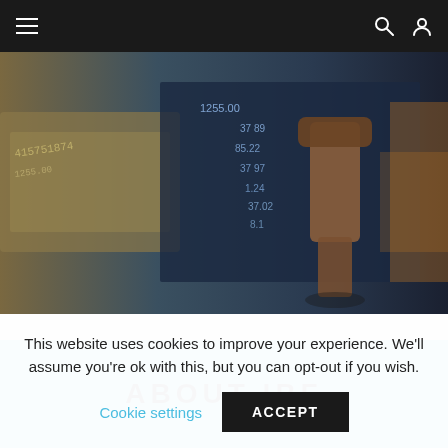Navigation bar with menu, search, and user icons
[Figure (photo): Hero banner image showing currency bills, financial data/stock numbers on a blueish screen, and a wooden gavel — a financial/legal themed composite photo]
ABOUT IBF
This website uses cookies to improve your experience. We'll assume you're ok with this, but you can opt-out if you wish.
Cookie settings  ACCEPT